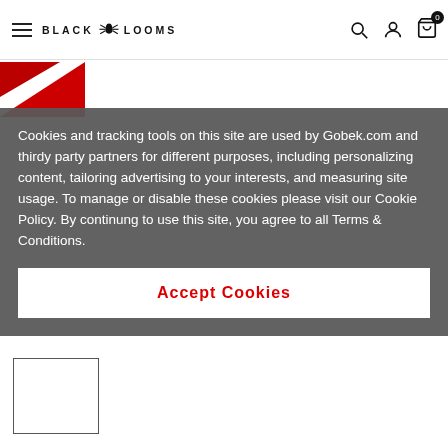BLACK LOOMS — navigation header with hamburger menu, logo, search, account, cart icons
Cookies and tracking tools on this site are used by Gobek.com and thirdy party partners for different purposes, including personalizing content, tailoring advertising to your interests, and measuring site usage. To manage or disable these cookies please visit our Cookie Policy. By continung to use this site, you agree to all Terms & Conditions.
Accept Cookies
[Figure (screenshot): Small empty white rectangle with dark border at bottom-left of page, appears to be a product thumbnail placeholder]